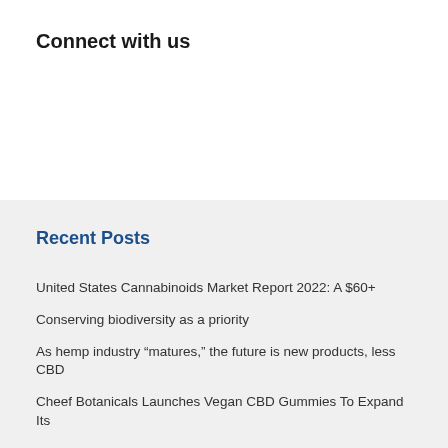Connect with us
Recent Posts
United States Cannabinoids Market Report 2022: A $60+
Conserving biodiversity as a priority
As hemp industry “matures,” the future is new products, less CBD
Cheef Botanicals Launches Vegan CBD Gummies To Expand Its
Creso Pharma Ltd launches into US CBD market on completing Sierra Sage Herbs LLC acquisition